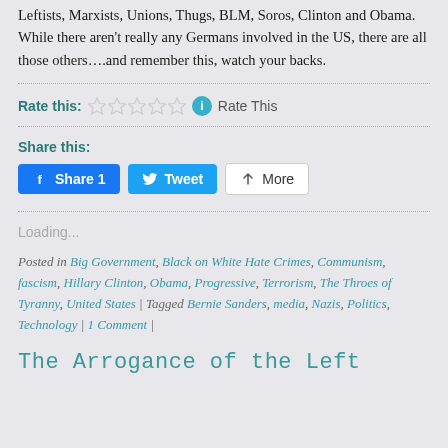Leftists, Marxists, Unions, Thugs, BLM, Soros, Clinton and Obama.  While there aren't really any Germans involved in the US, there are all those others….and remember this, watch your backs.
Rate this: ☆☆☆☆☆ ℹ Rate This
Share this:
[Figure (screenshot): Social sharing buttons: Facebook Share 1, Twitter Tweet, and More]
Loading...
Posted in Big Government, Black on White Hate Crimes, Communism, fascism, Hillary Clinton, Obama, Progressive, Terrorism, The Throes of Tyranny, United States | Tagged Bernie Sanders, media, Nazis, Politics, Technology | 1 Comment |
The Arrogance of the Left